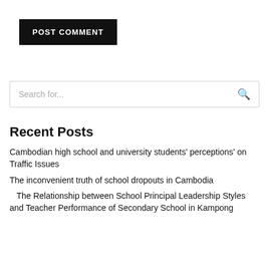POST COMMENT
Search for...
Recent Posts
Cambodian high school and university students' perceptions' on Traffic Issues
The inconvenient truth of school dropouts in Cambodia
​​​​​​​​​​​​​​​​​​​​​​​​​​​​​​​​​​​ ​​​​​​​​​​​​​​​ ​​​​​​​​​​​​​​​​​​​​​​​​​​​​​​​​​​​​ The Relationship between School Principal Leadership Styles and Teacher Performance of Secondary School in Kampong